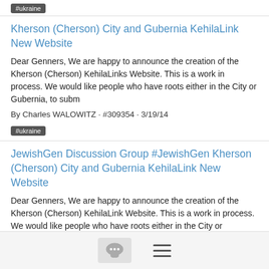#ukraine
Kherson (Cherson) City and Gubernia KehilaLink New Website
Dear Genners, We are happy to announce the creation of the Kherson (Cherson) KehilaLinks Website. This is a work in process. We would like people who have roots either in the City or Gubernia, to subm
By Charles WALOWITZ · #309354 · 3/19/14
#ukraine
JewishGen Discussion Group #JewishGen Kherson (Cherson) City and Gubernia KehilaLink New Website
Dear Genners, We are happy to announce the creation of the Kherson (Cherson) KehilaLink Website. This is a work in process. We would like people who have roots either in the City or Gubernia, to submi
By Charles WALOWITZ · #540837 · 3/19/14